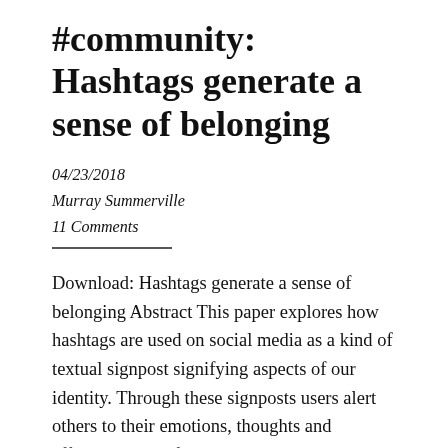#community: Hashtags generate a sense of belonging
04/23/2018
Murray Summerville
11 Comments
Download: Hashtags generate a sense of belonging Abstract This paper explores how hashtags are used on social media as a kind of textual signpost signifying aspects of our identity. Through these signposts users alert others to their emotions, thoughts and affiliations, all of which help generate a sense of belonging to something online. From its